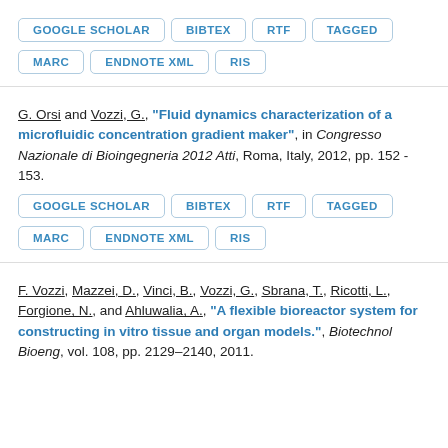GOOGLE SCHOLAR | BIBTEX | RTF | TAGGED | MARC | ENDNOTE XML | RIS
G. Orsi and Vozzi, G., "Fluid dynamics characterization of a microfluidic concentration gradient maker", in Congresso Nazionale di Bioingegneria 2012 Atti, Roma, Italy, 2012, pp. 152 - 153.
GOOGLE SCHOLAR | BIBTEX | RTF | TAGGED | MARC | ENDNOTE XML | RIS
F. Vozzi, Mazzei, D., Vinci, B., Vozzi, G., Sbrana, T., Ricotti, L., Forgione, N., and Ahluwalia, A., "A flexible bioreactor system for constructing in vitro tissue and organ models.", Biotechnol Bioeng, vol. 108, pp. 2129–2140, 2011.